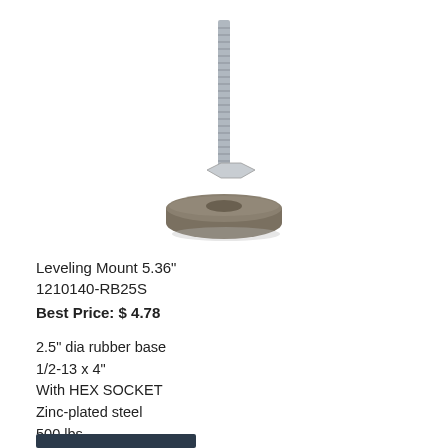[Figure (photo): A leveling mount hardware product: a threaded zinc-plated steel bolt/stud with hex socket top, attached to a round flat rubber base (brownish-gray color).]
Leveling Mount 5.36"
1210140-RB25S
Best Price: $ 4.78
2.5" dia rubber base
1/2-13 x 4"
With HEX SOCKET
Zinc-plated steel
500 lbs
★★★★★ (1)